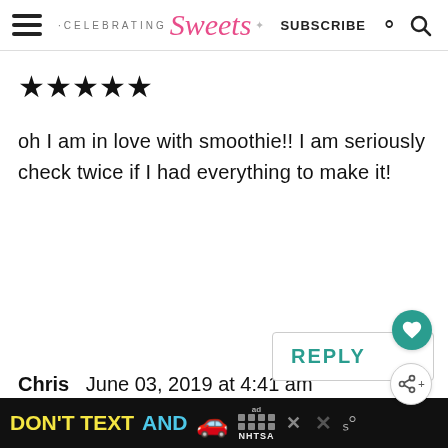Celebrating Sweets — SUBSCRIBE
[Figure (other): Five filled black star rating icons]
oh I am in love with smoothie!! I am seriously check twice if I had everything to make it!
[Figure (other): REPLY button with heart icon and share icon overlay]
[Figure (other): What's Next: Gingerbread Muffins with thumbnail image]
Chris   June 03, 2019 at 4:41 am
[Figure (other): Ad banner: DON'T TEXT AND (car emoji) NHTSA advertisement with close buttons]